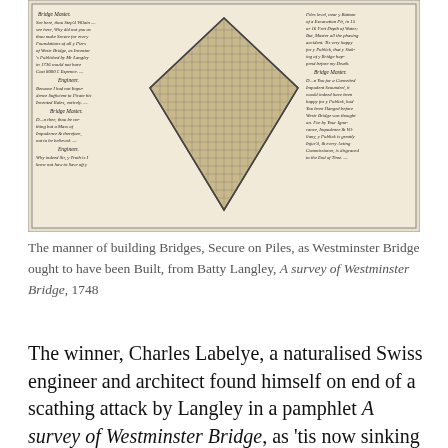[Figure (illustration): Historical engraving showing a diamond-shaped pile foundation diagram for Westminster Bridge, with italicised dialogue text on both sides between 'Engineer' and 'Bridge Master', from Batty Langley's 1748 survey.]
The manner of building Bridges, Secure on Piles, as Westminster Bridge ought to have been Built, from Batty Langley, A survey of Westminster Bridge, 1748
The winner, Charles Labelye, a naturalised Swiss engineer and architect found himself on end of a scathing attack by Langley in a pamphlet A survey of Westminster Bridge, as 'tis now sinking into ruin, in which he referred to